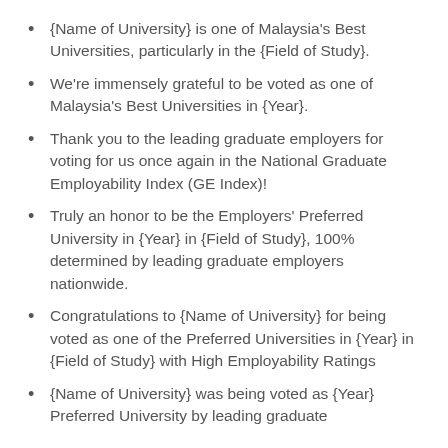{Name of University} is one of Malaysia's Best Universities, particularly in the {Field of Study}.
We're immensely grateful to be voted as one of Malaysia's Best Universities in {Year}.
Thank you to the leading graduate employers for voting for us once again in the National Graduate Employability Index (GE Index)!
Truly an honor to be the Employers' Preferred University in {Year} in {Field of Study}, 100% determined by leading graduate employers nationwide.
Congratulations to {Name of University} for being voted as one of the Preferred Universities in {Year} in {Field of Study} with High Employability Ratings
{Name of University} was being voted as {Year} Preferred University by leading graduate